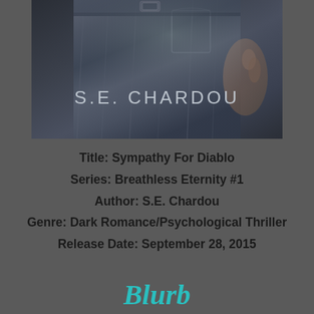[Figure (photo): Book cover for 'Sympathy For Diablo' by S.E. Chardou. Dark monochrome image showing denim jeans/overalls with a hand visible. Author name 'S.E. CHARDOU' displayed in large letters across the middle of the cover.]
Title: Sympathy For Diablo
Series: Breathless Eternity #1
Author: S.E. Chardou
Genre: Dark Romance/Psychological Thriller
Release Date: September 28, 2015
Blurb